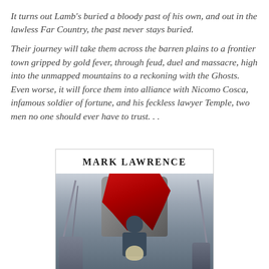It turns out Lamb's buried a bloody past of his own, and out in the lawless Far Country, the past never stays buried.
Their journey will take them across the barren plains to a frontier town gripped by gold fever, through feud, duel and massacre, high into the unmapped mountains to a reckoning with the Ghosts. Even worse, it will force them into alliance with Nicomo Cosca, infamous soldier of fortune, and his feckless lawyer Temple, two men no one should ever have to trust. . .
[Figure (illustration): Book cover for a fantasy novel by Mark Lawrence, showing an armored/cloaked figure sitting on a stone throne draped with a red cloak, surrounded by swords and spears, with armored figures in the foreground and a cloudy grey sky background.]